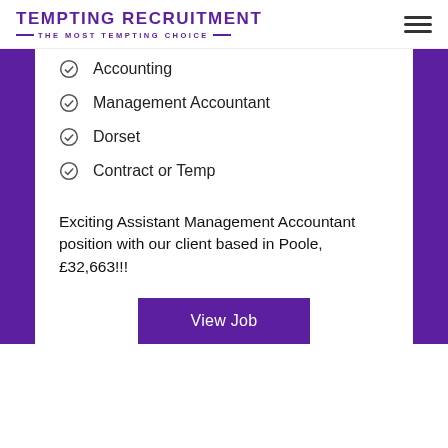TEMPTING RECRUITMENT — THE MOST TEMPTING CHOICE —
Accounting
Management Accountant
Dorset
Contract or Temp
Exciting Assistant Management Accountant position with our client based in Poole, £32,663!!!
View Job